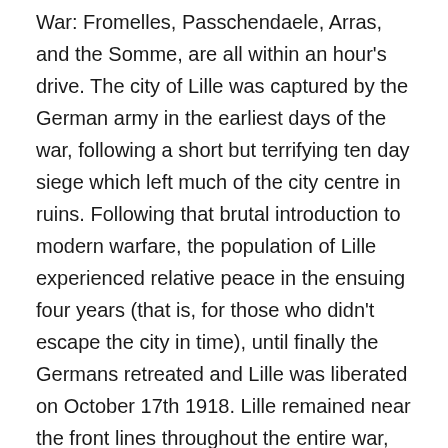War: Fromelles, Passchendaele, Arras, and the Somme, are all within an hour's drive. The city of Lille was captured by the German army in the earliest days of the war, following a short but terrifying ten day siege which left much of the city centre in ruins. Following that brutal introduction to modern warfare, the population of Lille experienced relative peace in the ensuing four years (that is, for those who didn't escape the city in time), until finally the Germans retreated and Lille was liberated on October 17th 1918. Lille remained near the front lines throughout the entire war, always within earshot of the cannonade, but sufficiently removed so as to avoid the utter destruction that befell other towns in Flanders. Lille had been hurt but not obliterated. Only 20 minutes drive away is Ypres. This elegant Belgian town became the face of the First World War. The famous Lakenhalle (the Dutch sounds somewhat more